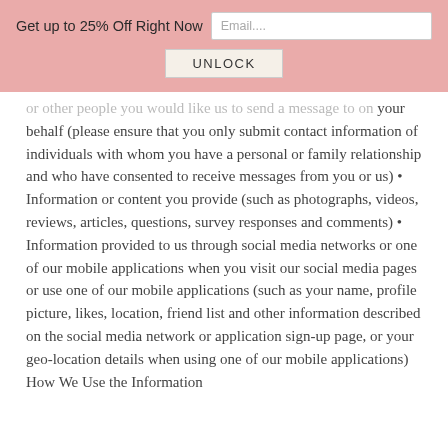Get up to 25% Off Right Now  [Email....] [UNLOCK]
or other people you would like us to send a message to on your behalf (please ensure that you only submit contact information of individuals with whom you have a personal or family relationship and who have consented to receive messages from you or us) • Information or content you provide (such as photographs, videos, reviews, articles, questions, survey responses and comments) • Information provided to us through social media networks or one of our mobile applications when you visit our social media pages or use one of our mobile applications (such as your name, profile picture, likes, location, friend list and other information described on the social media network or application sign-up page, or your geo-location details when using one of our mobile applications) How We Use the Information